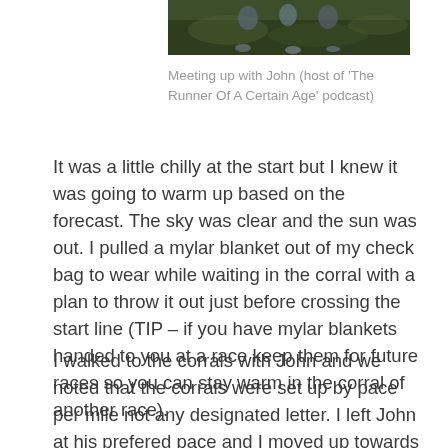[Figure (photo): Photo of people on grass, partially cropped at top of page]
Meeting up with John (host of 'The Runner Of A Certain Age' podcast)
It was a little chilly at the start but I knew it was going to warm up based on the forecast. The sky was clear and the sun was out. I pulled a mylar blanket out of my check bag to wear while waiting in the corral with a plan to throw it out just before crossing the start line (TIP – if you have mylar blankets handed to you at a race keep them for future races so you can stay warm in the corral of another race).
I walked to the corrals with John and we noted that the corrals were set up by pace per mile not any designated letter. I left John at his prefered pace and I moved up towards the 8:00–9:00 pace area. I didn't